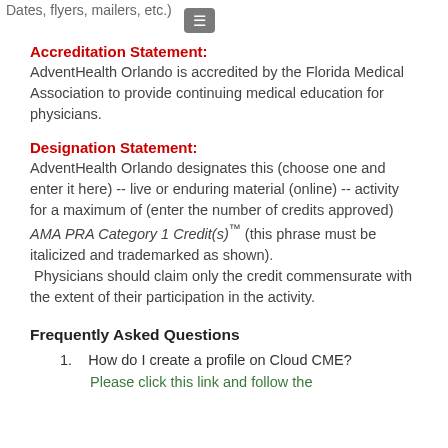Dates, flyers, mailers, etc.)
Accreditation Statement:
AdventHealth Orlando is accredited by the Florida Medical Association to provide continuing medical education for physicians.
Designation Statement:
AdventHealth Orlando designates this (choose one and enter it here) -- live or enduring material (online) -- activity for a maximum of (enter the number of credits approved) AMA PRA Category 1 Credit(s)™ (this phrase must be italicized and trademarked as shown). Physicians should claim only the credit commensurate with the extent of their participation in the activity.
Frequently Asked Questions
1.    How do I create a profile on Cloud CME?
Please click this link and follow the